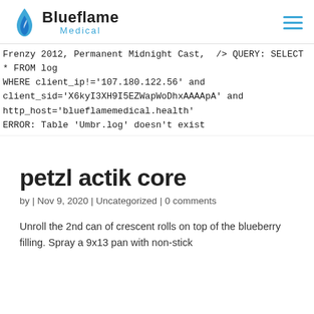Blueflame Medical
Frenzy 2012, Permanent Midnight Cast,  /> QUERY: SELECT * FROM log WHERE client_ip!='107.180.122.56' and client_sid='X6kyI3XH9I5EZWapWoDhxAAAApA' and http_host='blueflamemedical.health'
ERROR: Table 'Umbr.log' doesn't exist
petzl actik core
by | Nov 9, 2020 | Uncategorized | 0 comments
Unroll the 2nd can of crescent rolls on top of the blueberry filling. Spray a 9x13 pan with non-stick